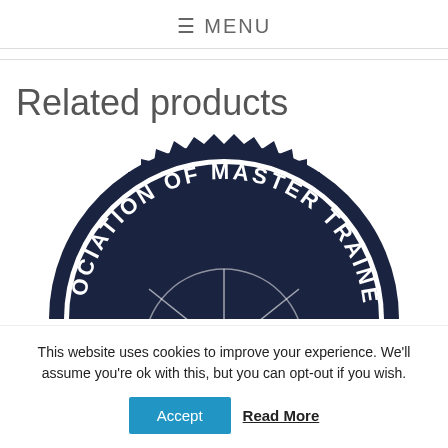≡ MENU
Related products
[Figure (logo): Circular badge/seal logo for Association of Master Trainers, dark navy color with gear-like serrated edge, partially cropped showing top half]
This website uses cookies to improve your experience. We'll assume you're ok with this, but you can opt-out if you wish.
Accept   Read More